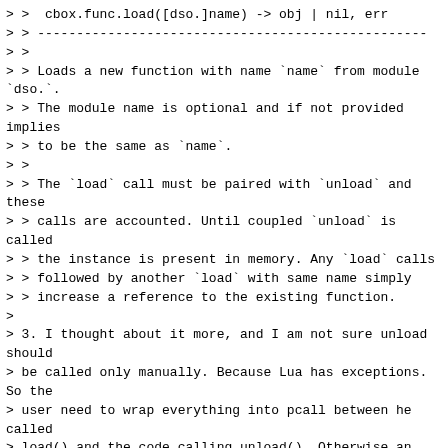> >  cbox.func.load([dso.]name) -> obj | nil, err
> > --------------------------------------------------
> >
> > Loads a new function with name `name` from module `dso.`.
> > The module name is optional and if not provided implies
> > to be the same as `name`.
> >
> > The `load` call must be paired with `unload` and these
> > calls are accounted. Until coupled `unload` is called
> > the instance is present in memory. Any `load` calls
> > followed by another `load` with same name simply
> > increase a reference to the existing function.
>
> 3. I thought about it more, and I am not sure unload should
> be called only manually. Because Lua has exceptions. So the
> user need to wrap everything into pcall between he called
> load() and the code calling unload(). Otherwise an exception
> may arise somewhere, and the user won't get to unload(). As
> a result, he won't decrease the reference counter.
>
> For example: